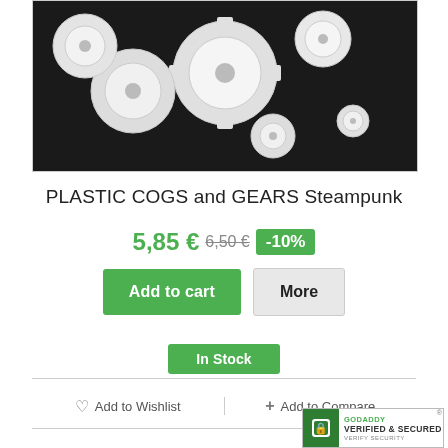[Figure (photo): Multiple white plastic cogs and gears of various sizes on a dark background (Steampunk style product photo)]
PLASTIC COGS and GEARS Steampunk
5,85 € 6,50 € -10%
Add to cart | More
In Stock
♡ Add to Wishlist   + Add to Compare
[Figure (logo): GoDaddy Verified & Secured badge]